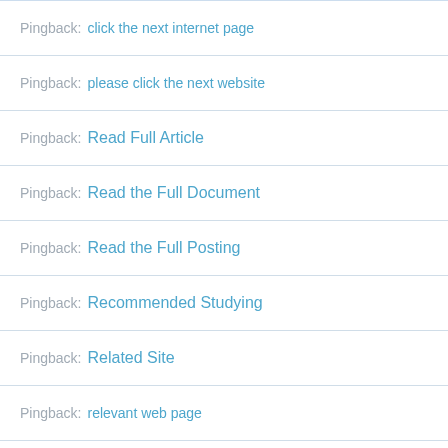Pingback: click the next internet page
Pingback: please click the next website
Pingback: Read Full Article
Pingback: Read the Full Document
Pingback: Read the Full Posting
Pingback: Recommended Studying
Pingback: Related Site
Pingback: relevant web page
Pingback: similar web page